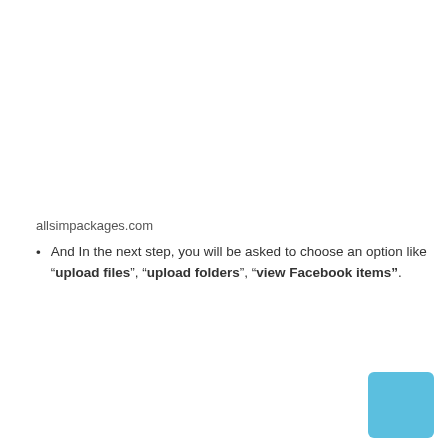allsimpackages.com
And In the next step, you will be asked to choose an option like “upload files”, “upload folders”, “view Facebook items”.
[Figure (other): Light blue rounded rectangle decorative element in bottom-right corner]